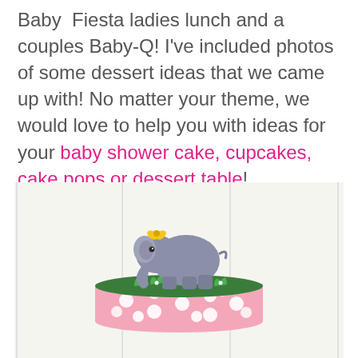Baby Fiesta ladies lunch and a couples Baby-Q! I've included photos of some dessert ideas that we came up with! No matter your theme, we would love to help you with ideas for your baby shower cake, cupcakes, cake pops or dessert table!
[Figure (photo): A pink fondant baby shower cake with white polka dots, topped with a gray elephant figurine wearing a yellow bow, standing on green grass with white flowers.]